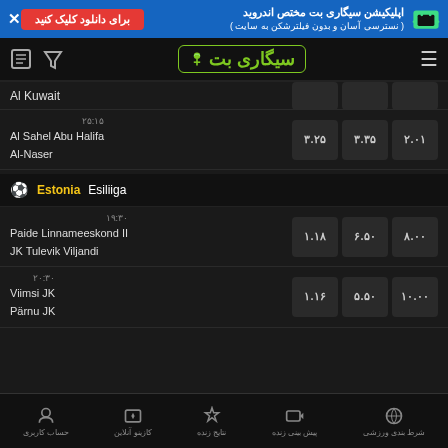[Figure (screenshot): Top blue banner with Android app download advertisement in Persian, red button, and Android icon]
[Figure (screenshot): Navigation bar with document icon, filter icon, Sigari Bet logo in green, and hamburger menu]
Al Kuwait
۲۵:۱۵
Al Sahel Abu Halifa
Al-Naser
| Odd1 | OddX | Odd2 |
| --- | --- | --- |
| ۳.۲۵ | ۳.۳۵ | ۲.۰۱ |
Estonia Esiliiga
۱۹:۳۰
Paide Linnameeskond II
JK Tulevik Viljandi
| Odd1 | OddX | Odd2 |
| --- | --- | --- |
| ۱.۱۸ | ۶.۵۰ | ۸.۰۰ |
۲۰:۳۰
Viimsi JK
Pärnu JK
| Odd1 | OddX | Odd2 |
| --- | --- | --- |
| ۱.۱۶ | ۵.۵۰ | ۱۰.۰۰ |
حساب کاربری | کازینو آنلاین | نتایج زنده | پیش بینی زنده | شرط بندی ورزشی